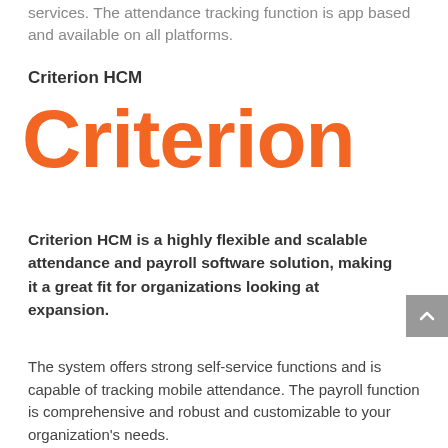services. The attendance tracking function is app based and available on all platforms.
Criterion HCM
[Figure (logo): Criterion logo in large orange bold text]
Criterion HCM is a highly flexible and scalable attendance and payroll software solution, making it a great fit for organizations looking at expansion.
The system offers strong self-service functions and is capable of tracking mobile attendance. The payroll function is comprehensive and robust and customizable to your organization's needs.